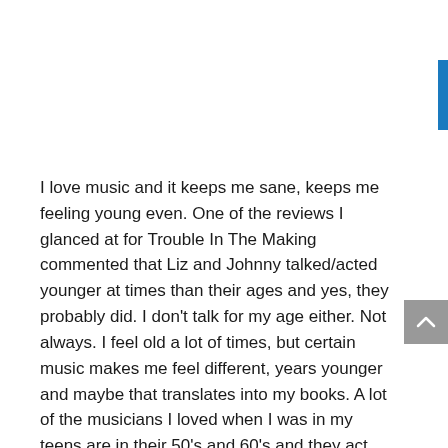I love music and it keeps me sane, keeps me feeling young even. One of the reviews I glanced at for Trouble In The Making commented that Liz and Johnny talked/acted younger at times than their ages and yes, they probably did. I don't talk for my age either. Not always. I feel old a lot of times, but certain music makes me feel different, years younger and maybe that translates into my books. A lot of the musicians I loved when I was in my teens are in their 50's and 60's and they act, talk, play younger now than when they were 20 years younger.